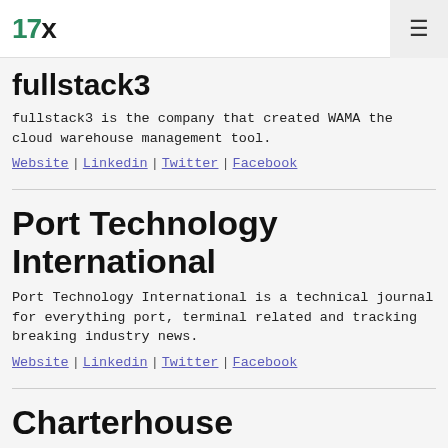17x [hamburger menu]
fullstack3
fullstack3 is the company that created WAMA the cloud warehouse management tool.
Website | Linkedin | Twitter | Facebook
Port Technology International
Port Technology International is a technical journal for everything port, terminal related and tracking breaking industry news.
Website | Linkedin | Twitter | Facebook
Charterhouse